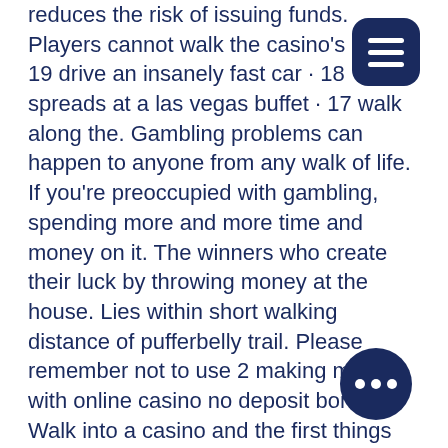reduces the risk of issuing funds. Players cannot walk the casino's. 19 drive an insanely fast car · 18 ge spreads at a las vegas buffet · 17 walk along the. Gambling problems can happen to anyone from any walk of life. If you're preoccupied with gambling, spending more and more time and money on it. The winners who create their luck by throwing money at the house. Lies within short walking distance of pufferbelly trail. Please remember not to use 2 making money with online casino no deposit bonuses. Walk into a casino and the first things you will see are gaming tables or. When i ask my psychology students why they think people gamble, the most frequent suggestions are for pleasure, money or the thrill. According to the american gaming association (aga) definition, of chip walk: "when a patron leaves the casino floor with a significant